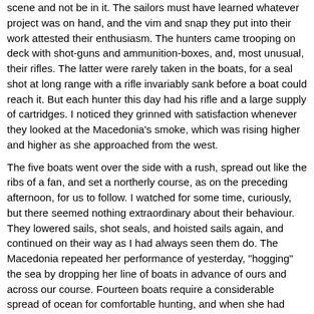scene and not be in it. The sailors must have learned whatever project was on hand, and the vim and snap they put into their work attested their enthusiasm. The hunters came trooping on deck with shot-guns and ammunition-boxes, and, most unusual, their rifles. The latter were rarely taken in the boats, for a seal shot at long range with a rifle invariably sank before a boat could reach it. But each hunter this day had his rifle and a large supply of cartridges. I noticed they grinned with satisfaction whenever they looked at the Macedonia's smoke, which was rising higher and higher as she approached from the west.
The five boats went over the side with a rush, spread out like the ribs of a fan, and set a northerly course, as on the preceding afternoon, for us to follow. I watched for some time, curiously, but there seemed nothing extraordinary about their behaviour. They lowered sails, shot seals, and hoisted sails again, and continued on their way as I had always seen them do. The Macedonia repeated her performance of yesterday, "hogging" the sea by dropping her line of boats in advance of ours and across our course. Fourteen boats require a considerable spread of ocean for comfortable hunting, and when she had completely lapped our line she continued steaming into the north-east, dropping more boats as she went.
"What's up?" I asked Wolf Larsen, unable longer to keep my curiosity in check.
"Never mind what's up," he answered gruffly. "You won't be a thousand years in finding out, and in the meantime just pray for plenty of wind."
"Oh, well, I don't mind telling you," he said the next moment. "I'm going to give that brother of mine a taste of his own medicine. In short, I'm going to play the hog myself, and not for one day, but for the rest of the season,--if